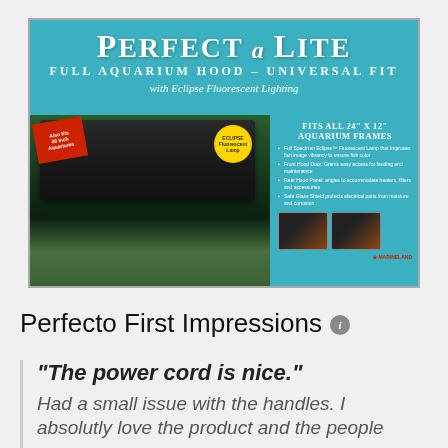[Figure (photo): Product box for Perfect-a-Lite Full Aquarium Hood - Universal Fit with Eclipse Fluorescent Lighting by Marineland. Teal/turquoise colored box showing the black aquarium hood, product details on right side, and small inset photos.]
Perfecto First Impressions
"The power cord is nice."
Had a small issue with the handles. I absolutly love the product and the people